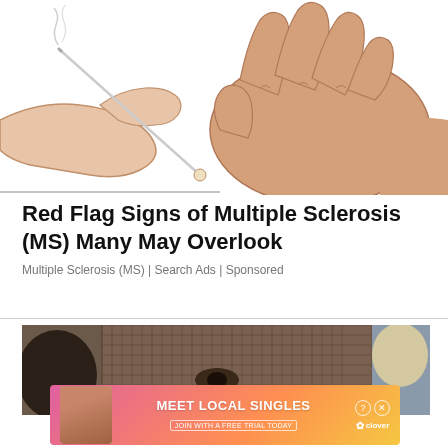[Figure (illustration): Illustrated/cartoon-style drawing of two hands, one holding a needle or acupuncture pin, pressing it into the palm of another hand. White background with peach/skin-tone colored drawn hands, smoke or steam visible near the needle tip.]
Red Flag Signs of Multiple Sclerosis (MS) Many May Overlook
Multiple Sclerosis (MS) | Search Ads | Sponsored
[Figure (photo): Close-up photo of a person wearing a mesh/net veil over their face, mostly showing eyes. Another figure with light hair visible at the right edge. Dark, moody tones.]
[Figure (other): Advertisement banner: 'MEET LOCAL SINGLES' with 'JOIN WITH A FREE TRIAL TODAY' subtext and Clover app branding. Gradient pink-to-orange-yellow background with a woman's photo on the left side.]